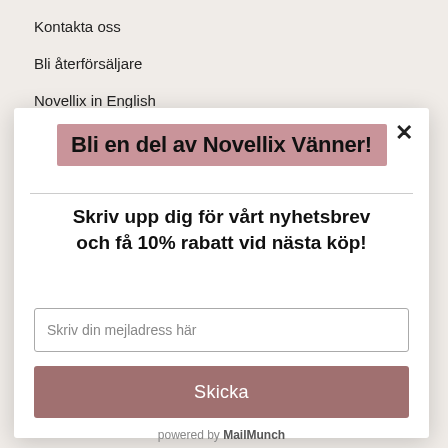Kontakta oss
Bli återförsäljare
Novellix in English
Bli en del av Novellix Vänner!
Skriv upp dig för vårt nyhetsbrev och få 10% rabatt vid nästa köp!
Skriv din mejladress här
Skicka
powered by MailMunch